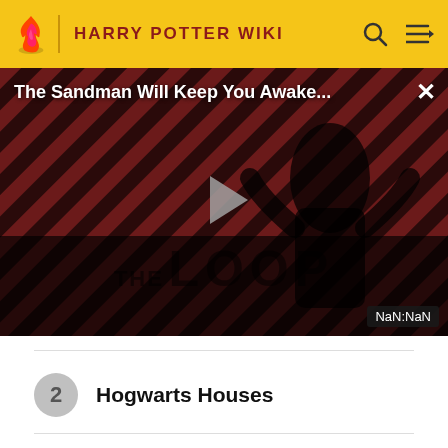HARRY POTTER WIKI
[Figure (screenshot): Video player showing 'The Sandman Will Keep You Awake...' with a dark-themed thumbnail featuring a figure in black against a red striped background, play button in center, 'THE LOOP' watermark, timer showing NaN:NaN, and close button.]
2  Hogwarts Houses
7  (partially visible)